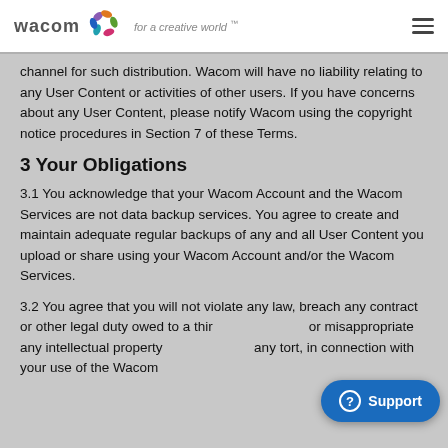Wacom — for a creative world™
channel for such distribution. Wacom will have no liability relating to any User Content or activities of other users. If you have concerns about any User Content, please notify Wacom using the copyright notice procedures in Section 7 of these Terms.
3 Your Obligations
3.1 You acknowledge that your Wacom Account and the Wacom Services are not data backup services. You agree to create and maintain adequate regular backups of any and all User Content you upload or share using your Wacom Account and/or the Wacom Services.
3.2 You agree that you will not violate any law, breach any contract or other legal duty owed to a third party, infringe or misappropriate any intellectual property rights, commit any tort, in connection with your use of the Wacom